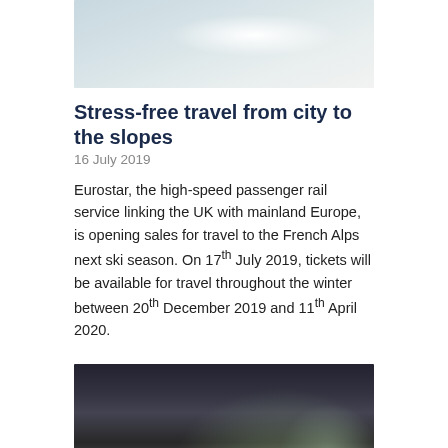[Figure (photo): Aerial or landscape view of snowy slopes, partially visible at top of page]
Stress-free travel from city to the slopes
16 July 2019
Eurostar, the high-speed passenger rail service linking the UK with mainland Europe, is opening sales for travel to the French Alps next ski season. On 17th July 2019, tickets will be available for travel throughout the winter between 20th December 2019 and 11th April 2020.
[Figure (photo): Photo of a train attendant serving food to two women passengers seated by a window on a Eurostar train]